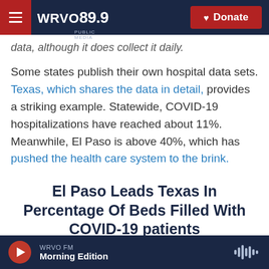WRVO 89.9 PUBLIC MEDIA | Donate
data, although it does collect it daily.
Some states publish their own hospital data sets. Texas, which shares the data in detail, provides a striking example. Statewide, COVID-19 hospitalizations have reached about 11%. Meanwhile, El Paso is above 40%, which has pushed the health care system to the brink.
El Paso Leads Texas In Percentage Of Beds Filled With COVID-19 patients
Estimated percentage of hospital beds filled by COVID-19 patients in El Paso region.
WRVO FM  Morning Edition